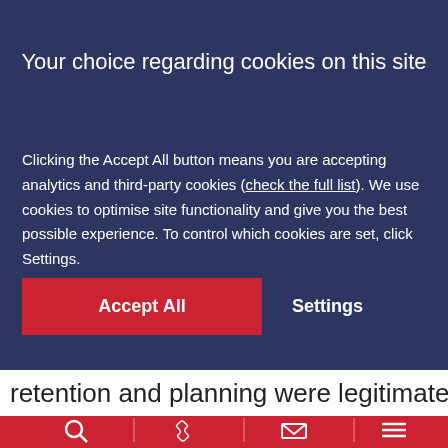Your choice regarding cookies on this site
Clicking the Accept All button means you are accepting analytics and third-party cookies (check the full list). We use cookies to optimise site functionality and give you the best possible experience. To control which cookies are set, click Settings.
Accept All
Settings
retention and planning were legitimate
[Figure (screenshot): Red navigation bar with search, phone, email, and menu icons]